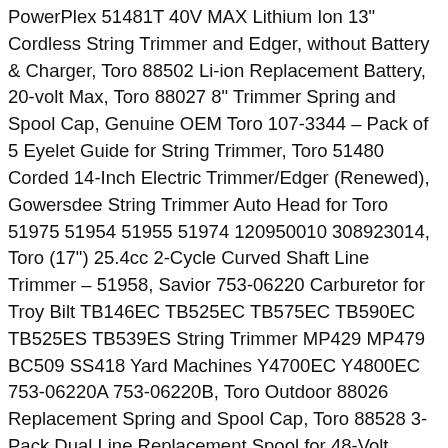Toro 60 Volt Flex Force Straight Shaft Battery String Trimmer, Toro PowerPlex 51481T 40V MAX Lithium Ion 13" Cordless String Trimmer and Edger, without Battery & Charger, Toro 88502 Li-ion Replacement Battery, 20-volt Max, Toro 88027 8" Trimmer Spring and Spool Cap, Genuine OEM Toro 107-3344 – Pack of 5 Eyelet Guide for String Trimmer, Toro 51480 Corded 14-Inch Electric Trimmer/Edger (Renewed), Gowersdee String Trimmer Auto Head for Toro 51975 51954 51955 51974 120950010 308923014, Toro (17") 25.4cc 2-Cycle Curved Shaft Line Trimmer – 51958, Savior 753-06220 Carburetor for Troy Bilt TB146EC TB525EC TB575EC TB590EC TB525ES TB539ES String Trimmer MP429 MP479 BC509 SS418 Yard Machines Y4700EC Y4800EC 753-06220A 753-06220B, Toro Outdoor 88026 Replacement Spring and Spool Cap, Toro 88528 3-Pack Dual Line Replacement Spool for 48-Volt Trimmer, 0.065-Inch, String Trimmer Parts & Accs BBT THROTTLE TRIGGER FITS HOMELITE TRIMMERS UP04134 04134 14452H, Homelite Genuine OEM AC41RL3 Autofeed Dual .065" Replacement Line and Spool Pack for Homelite Electric String Trimmers (3 Pack), Scotts Outdoor Power Tools HT10026S 20-Inch 2.8-Amp Corded Electric String Trimmer